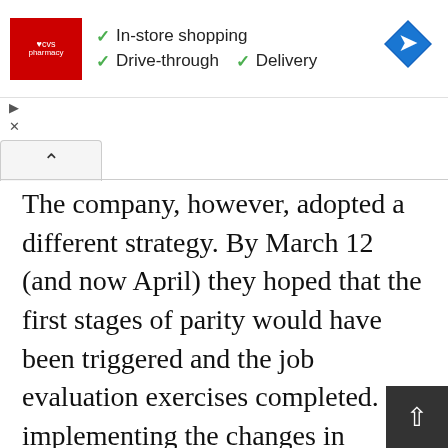[Figure (screenshot): CVS Pharmacy advertisement banner showing logo, checkmark services: In-store shopping, Drive-through, Delivery, and a blue map direction icon]
The company, however, adopted a different strategy. By March 12 (and now April) they hoped that the first stages of parity would have been triggered and the job evaluation exercises completed. By implementing the changes in working practices then, the company hoped that workers would move on to the new tracks and into new job gradings – many being higher than at present. This would prevent